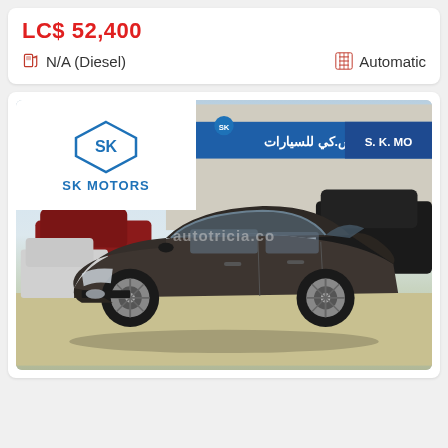LC$ 52,400
N/A (Diesel)
Automatic
[Figure (photo): A dark grey/brown Kia Optima sedan parked in front of SK Motors dealership, showing the front and driver side. The SK Motors logo is visible top-left in white area.]